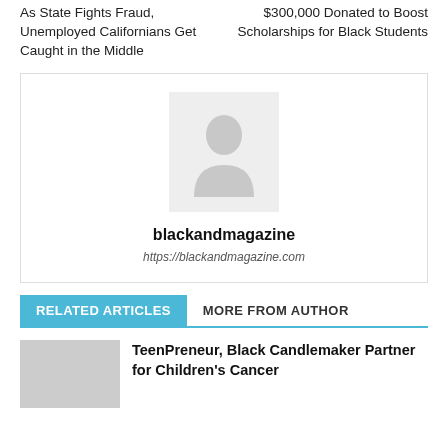As State Fights Fraud, Unemployed Californians Get Caught in the Middle
$300,000 Donated to Boost Scholarships for Black Students
[Figure (illustration): Author avatar placeholder with generic person silhouette icon on light grey background]
blackandmagazine
https://blackandmagazine.com
RELATED ARTICLES
MORE FROM AUTHOR
TeenPreneur, Black Candlemaker Partner for Children's Cancer